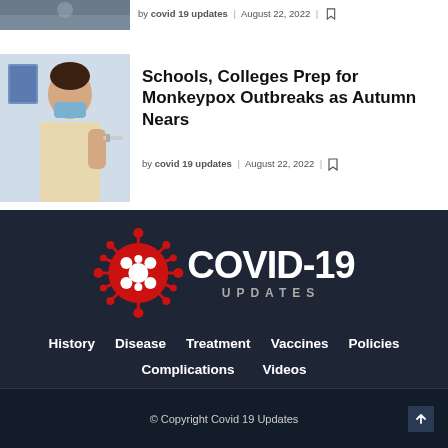by covid 19 updates | August 22, 2022 |
[Figure (photo): Person receiving a vaccine injection, wearing a mask, blue/beige background]
Schools, Colleges Prep for Monkeypox Outbreaks as Autumn Nears
by covid 19 updates | August 22, 2022 |
[Figure (logo): COVID-19 UPDATES logo with red coronavirus illustration and white bold text on dark background]
History
Disease
Treatment
Vaccines
Policies
Complications
Videos
© Copyright Covid 19 Updates